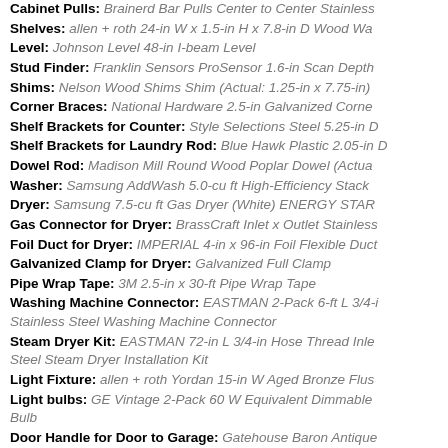Cabinet Pulls: Brainerd Bar Pulls Center to Center Stainless
Shelves: allen + roth 24-in W x 1.5-in H x 7.8-in D Wood Wa
Level: Johnson Level 48-in I-beam Level
Stud Finder: Franklin Sensors ProSensor 1.6-in Scan Depth
Shims: Nelson Wood Shims Shim (Actual: 1.25-in x 7.75-in)
Corner Braces: National Hardware 2.5-in Galvanized Corne
Shelf Brackets for Counter: Style Selections Steel 5.25-in D
Shelf Brackets for Laundry Rod: Blue Hawk Plastic 2.05-in D
Dowel Rod: Madison Mill Round Wood Poplar Dowel (Actua
Washer: Samsung AddWash 5.0-cu ft High-Efficiency Stack
Dryer: Samsung 7.5-cu ft Gas Dryer (White) ENERGY STAR
Gas Connector for Dryer: BrassCraft Inlet x Outlet Stainless
Foil Duct for Dryer: IMPERIAL 4-in x 96-in Foil Flexible Duct
Galvanized Clamp for Dryer: Galvanized Full Clamp
Pipe Wrap Tape: 3M 2.5-in x 30-ft Pipe Wrap Tape
Washing Machine Connector: EASTMAN 2-Pack 6-ft L 3/4-in Stainless Steel Washing Machine Connector
Steam Dryer Kit: EASTMAN 72-in L 3/4-in Hose Thread Inlet Steel Steam Dryer Installation Kit
Light Fixture: allen + roth Yordan 15-in W Aged Bronze Flus
Light bulbs: GE Vintage 2-Pack 60 W Equivalent Dimmable Bulb
Door Handle for Door to Garage: Gatehouse Baron Antique
Door Handle and Deadbolt for Door to Garage: Kwikset Tus
Keyed Entry Door Lever Combo Pack with Smartkey